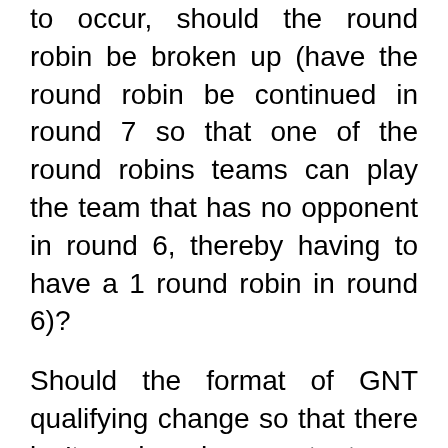to occur, should the round robin be broken up (have the round robin be continued in round 7 so that one of the round robins teams can play the team that has no opponent in round 6, thereby having to have a 1 round robin in round 6)?
Should the format of GNT qualifying change so that there isn't such a huge cut at one stage – maybe with 20 teams, maybe qualify 8 teams and play another round robins with carryover.
At sectionals and club games and side games, I can understand running a movement because it's easier or quicker but in major events, events